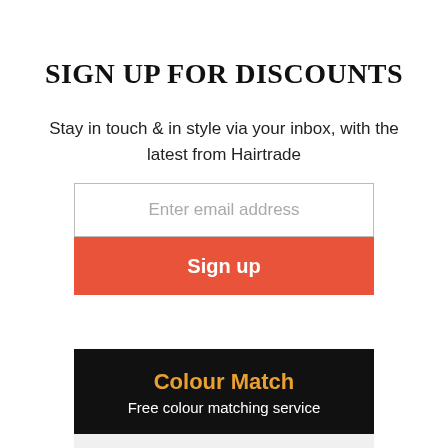SIGN UP FOR DISCOUNTS
Stay in touch & in style via your inbox, with the latest from Hairtrade
[Figure (screenshot): Email signup form with a text input field labeled 'Enter email address' and a red 'Sign up' button below it]
Colour Match
Free colour matching service
Shop Hairtrade
Delivery